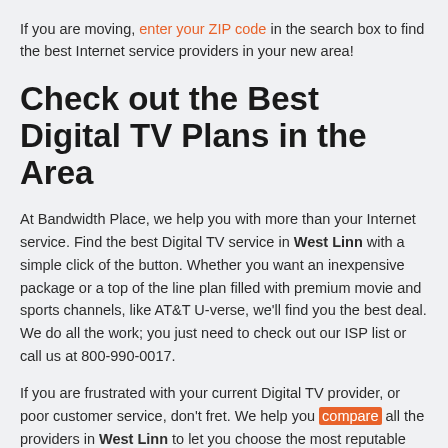If you are moving, enter your ZIP code in the search box to find the best Internet service providers in your new area!
Check out the Best Digital TV Plans in the Area
At Bandwidth Place, we help you with more than your Internet service. Find the best Digital TV service in West Linn with a simple click of the button. Whether you want an inexpensive package or a top of the line plan filled with premium movie and sports channels, like AT&T U-verse, we'll find you the best deal. We do all the work; you just need to check out our ISP list or call us at 800-990-0017.
If you are frustrated with your current Digital TV provider, or poor customer service, don't fret. We help you compare all the providers in West Linn to let you choose the most reputable company for your family. Simply peruse our list